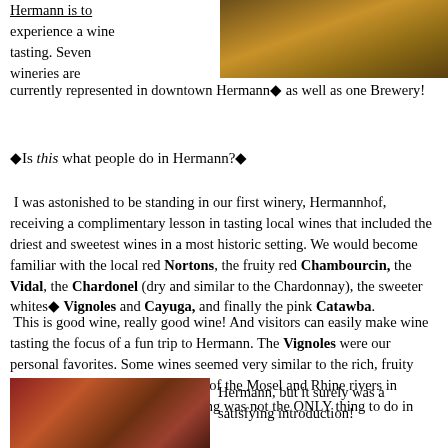[Figure (photo): Photo of wine barrel or wine-related item at a winery]
Hermann is to experience a wine tasting. Seven wineries are currently represented in downtown Hermann◆ as well as one Brewery!
◆Is this what people do in Hermann?◆
I was astonished to be standing in our first winery, Hermannhof, receiving a complimentary lesson in tasting local wines that included the driest and sweetest wines in a most historic setting. We would become familiar with the local red Nortons, the fruity red Chambourcin, the Vidal, the Chardonel (dry and similar to the Chardonnay), the sweeter whites◆ Vignoles and Cayuga, and finally the pink Catawba.
This is good wine, really good wine! And visitors can easily make wine tasting the focus of a fun trip to Hermann. The Vignoles were our personal favorites. Some wines seemed very similar to the rich, fruity flavors of German Riesling wines of the Mosel and Rhine rivers in Germany. We soon learn that tasting was not the ONLY thing to do in Hermann, but it surely was a satisfying introduction!
[Figure (photo): Photo of food and wine bottles at a restaurant or winery table]